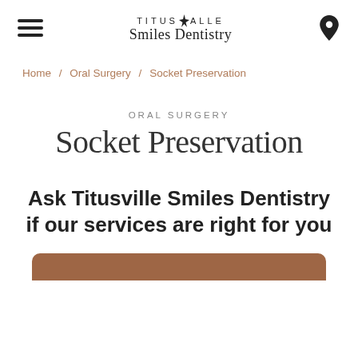TITUSVILLE Smiles Dentistry [hamburger menu] [location icon]
Home / Oral Surgery / Socket Preservation
ORAL SURGERY
Socket Preservation
Ask Titusville Smiles Dentistry if our services are right for you